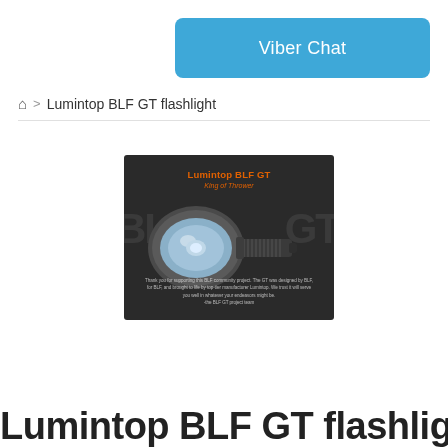[Figure (screenshot): Blue Viber Chat button]
🏠 > Lumintop BLF GT flashlight
[Figure (photo): Product image of Lumintop BLF GT flashlight on dark background with orange text 'Lumintop BLF GT - King of Thrower' and a text block at the bottom thanking the BLF community]
Lumintop BLF GT flashlight